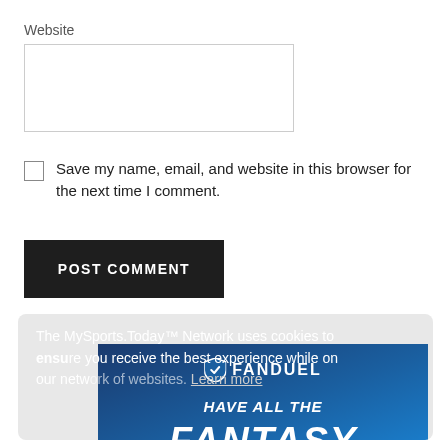Website
Save my name, email, and website in this browser for the next time I comment.
POST COMMENT
[Figure (screenshot): Cookie consent banner overlapping a FanDuel advertisement. The banner reads: 'The MySports.Today™ Network uses cookies to ensure you receive the best experience while on our network of websites. Learn more'. Behind it is a FanDuel ad with text 'HAVE ALL THE FANTASY THAT SPORTS HAS TO OFFER.']